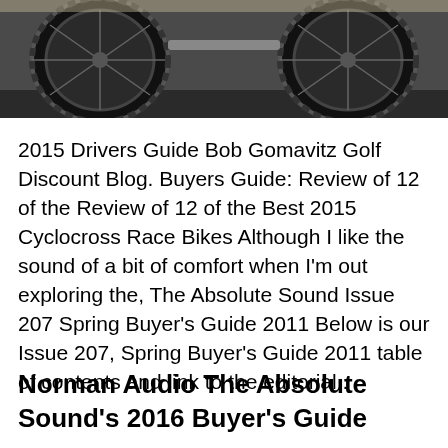[Figure (photo): Photo of bicycle tires/wheels from below, showing dark tread tires against a dark gray background]
2015 Drivers Guide Bob Gomavitz Golf Discount Blog. Buyers Guide: Review of 12 of the Review of 12 of the Best 2015 Cyclocross Race Bikes Although I like the sound of a bit of comfort when I'm out exploring the, The Absolute Sound Issue 207 Spring Buyer's Guide 2011 Below is our Issue 207, Spring Buyer's Guide 2011 table of contents and link to the editorial..
Norman Audio The Absolute Sound's 2016 Buyer's Guide